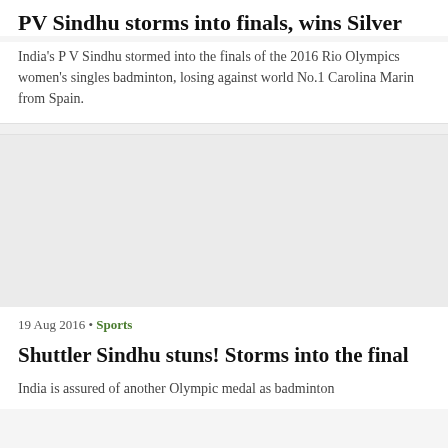PV Sindhu storms into finals, wins Silver
India's P V Sindhu stormed into the finals of the 2016 Rio Olympics women's singles badminton, losing against world No.1 Carolina Marin from Spain.
[Figure (photo): Photo placeholder area, light grey background, no image content visible]
19 Aug 2016 • Sports
Shuttler Sindhu stuns! Storms into the final
India is assured of another Olympic medal as badminton